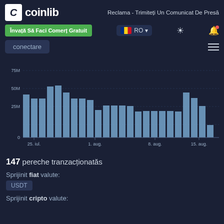coinlib
Reclama - Trimiteți Un Comunicat De Presă
Învață Să Faci Comerț Gratuit
RO
conectare
[Figure (bar-chart): Volume chart]
147 pereche tranzacționatăs
Sprijinit fiat valute:
USDT
Sprijinit cripto valute: